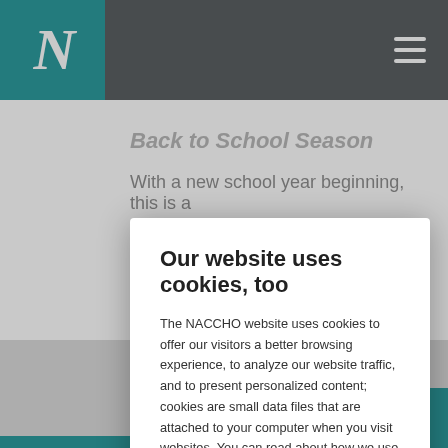N (NACCHO logo)
Back to School Season
With a new school year beginning, this is a
Our website uses cookies, too
The NACCHO website uses cookies to offer our visitors a better browsing experience, to analyze our website traffic, and to present personalized content; cookies are small data files that are attached to your computer when you visit websites. You can read about how we use cookies by clicking on the "details" button below. If you continue to use this website, you are consenting to our use of cookies.
DETAILS
OK